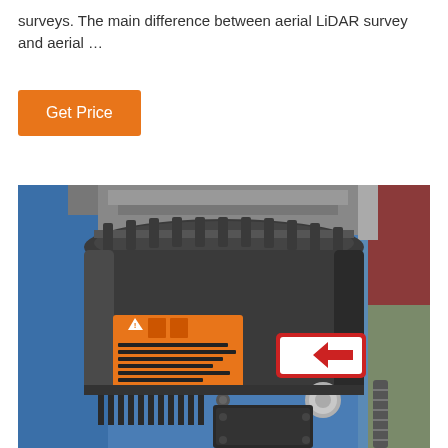surveys. The main difference between aerial LiDAR survey and aerial …
Get Price
[Figure (photo): Close-up photograph of a LiDAR scanning device (likely a Velodyne or similar rotating LiDAR unit) mounted in an industrial setting. The cylindrical black device has an orange warning label with Japanese/Chinese text and a hazard symbol, and a red sticker with an arrow on the side. It sits on a black base with heat sink fins, in front of a blue wall and a red/green background.]